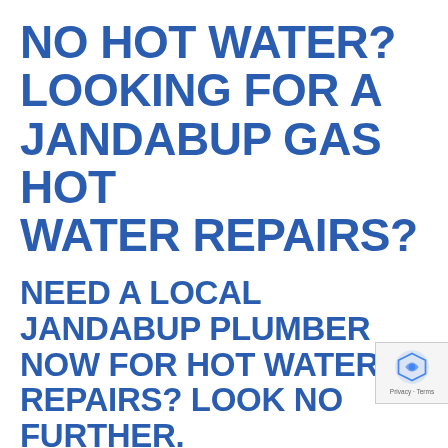NO HOT WATER? LOOKING FOR A JANDABUP GAS HOT WATER REPAIRS?
NEED A LOCAL JANDABUP PLUMBER NOW FOR HOT WATER REPAIRS? LOOK NO FURTHER.
Do you need a plumber in Jandabup? We are your local expert for all things plumbing and we are available 24/7! We service Perth and surroundings, including Jandabup.
At Universal Plumbers, we specialise in gas hot water repairs for Jandabup.
Our services aren't limited to gas hot water repairs, either. We